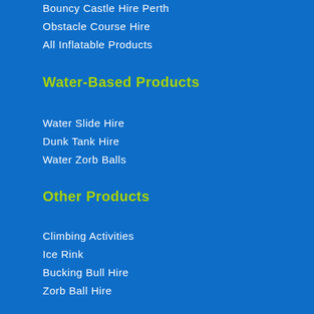Bouncy Castle Hire Perth
Obstacle Course Hire
All Inflatable Products
Water-Based Products
Water Slide Hire
Dunk Tank Hire
Water Zorb Balls
Other Products
Climbing Activities
Ice Rink
Bucking Bull Hire
Zorb Ball Hire